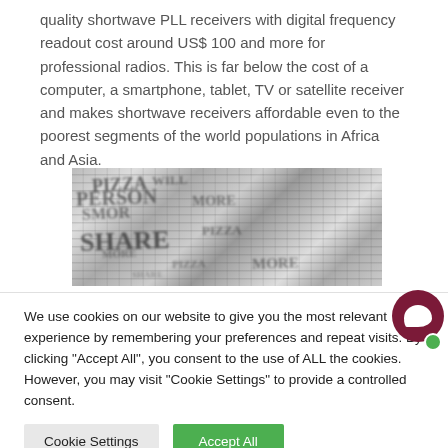quality shortwave PLL receivers with digital frequency readout cost around US$ 100 and more for professional radios. This is far below the cost of a computer, a smartphone, tablet, TV or satellite receiver and makes shortwave receivers affordable even to the poorest segments of the world populations in Africa and Asia.
[Figure (photo): Blurred black-and-white photograph of a newspaper page with bold headlines, partially legible text including words like 'SHARE'.]
We use cookies on our website to give you the most relevant experience by remembering your preferences and repeat visits. By clicking "Accept All", you consent to the use of ALL the cookies. However, you may visit "Cookie Settings" to provide a controlled consent.